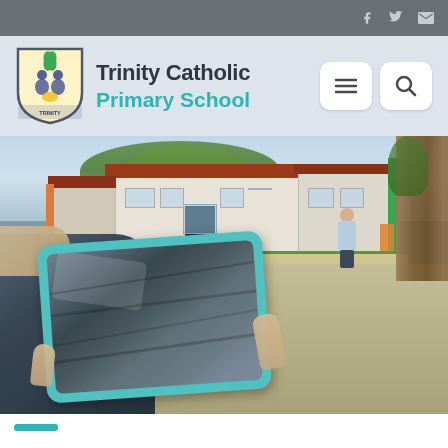Trinity Catholic Primary School — website header with social icons (Facebook, Twitter, Email), school shield logo, school name, and navigation (menu + search) buttons
[Figure (photo): School outdoor area: a student holds a tablet/iPad with a teal/turquoise case in the foreground (blurred), while the school buildings, playground, and a person (adult) are visible in the background. A large tree trunk is on the right edge. The scene is photographed outdoors on a sunny day.]
Trinity Catholic Primary School